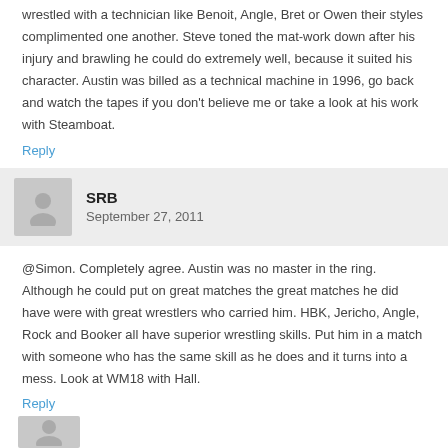wrestled with a technician like Benoit, Angle, Bret or Owen their styles complimented one another. Steve toned the mat-work down after his injury and brawling he could do extremely well, because it suited his character. Austin was billed as a technical machine in 1996, go back and watch the tapes if you don't believe me or take a look at his work with Steamboat.
Reply
SRB
September 27, 2011
@Simon. Completely agree. Austin was no master in the ring. Although he could put on great matches the great matches he did have were with great wrestlers who carried him. HBK, Jericho, Angle, Rock and Booker all have superior wrestling skills. Put him in a match with someone who has the same skill as he does and it turns into a mess. Look at WM18 with Hall.
Reply